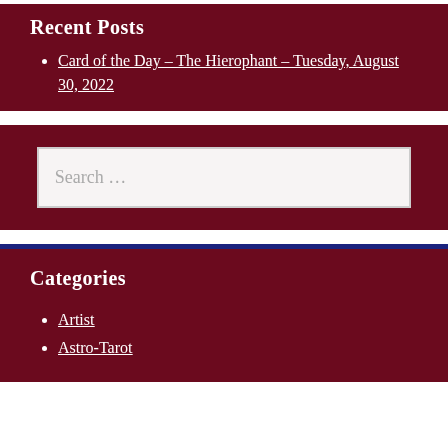Recent Posts
Card of the Day – The Hierophant – Tuesday, August 30, 2022
[Figure (other): Search bar widget with placeholder text 'Search ...']
Categories
Artist
Astro-Tarot